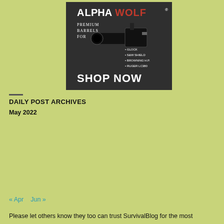[Figure (advertisement): Alpha Wolf Premium Barrels advertisement showing a gun barrel. Text: Alpha Wolf, Premium Barrels For, Glock, S&W Shield, Browning H.P., Ruger LC380, Shop Now]
DAILY POST ARCHIVES
May 2022
| S | M | T | W | T | F | S |
| --- | --- | --- | --- | --- | --- | --- |
| 1 | 2 | 3 | 4 | 5 | 6 | 7 |
| 8 | 9 | 10 | 11 | 12 | 13 | 14 |
| 15 | 16 | 17 | 18 | 19 | 20 | 21 |
| 22 | 23 | 24 | 25 | 26 | 27 | 28 |
| 29 | 30 | 31 |  |  |  |  |
« Apr   Jun »
Please let others know they too can trust SurvivalBlog for the most